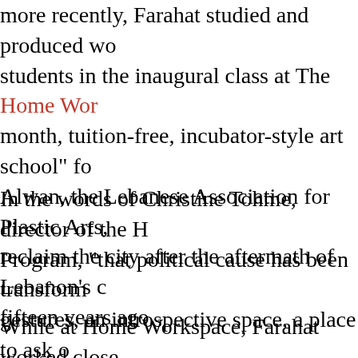more recently, Farahat studied and produced wo students in the inaugural class at The Home Wor month, tuition-free, incubator-style art school" fo Alwan, the Lebanese Association for Plastic Arts, reclaim the city after the aftermath of Lebanon's c fifteen years ago.
In the words of Christine Tohme, director of the H Program, “that political cause has been transform gestures, an introspective space, a place to ask o live, about dwelling, and about what we want fron
While at Home Workspace, Farahat worked close was the resident artist for that first year of the Ho